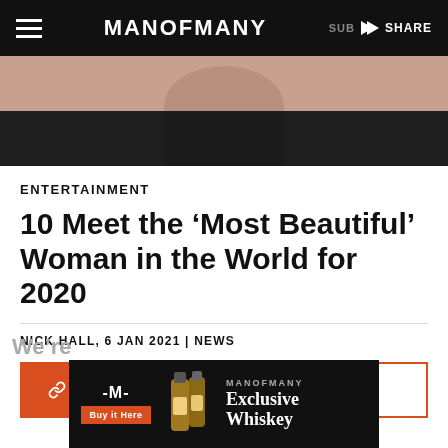MANOFMANY | SUB SHARE
[Figure (photo): Partial view of a person wearing a black outfit against a light peachy-tan background, cropped to show torso]
ENTERTAINMENT
10 Meet the ‘Most Beautiful’ Woman in the World for 2020
NICK HALL, 6 JAN 2021 | NEWS
[Figure (screenshot): MANOFMANY Exclusive Whiskey advertisement banner with buy button and whiskey bottles]
We’re